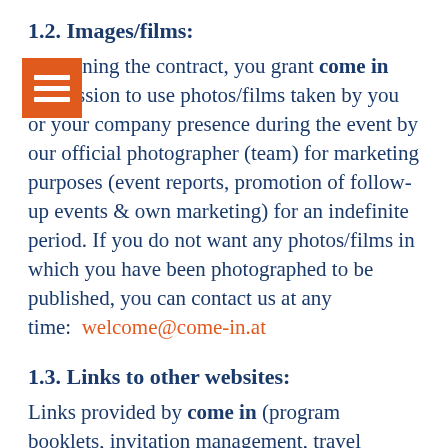1.2. Images/films:
By signing the contract, you grant come in permission to use photos/films taken by you or your company presence during the event by our official photographer (team) for marketing purposes (event reports, promotion of follow-up events & own marketing) for an indefinite period. If you do not want any photos/films in which you have been photographed to be published, you can contact us at any time:  welcome@come-in.at
1.3. Links to other websites:
Links provided by come in (program booklets, invitation management, travel